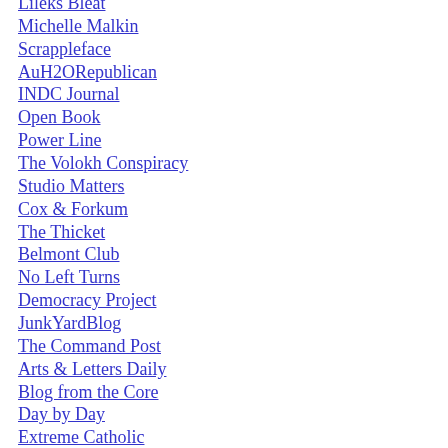Lileks Bleat
Michelle Malkin
Scrappleface
AuH2ORepublican
INDC Journal
Open Book
Power Line
The Volokh Conspiracy
Studio Matters
Cox & Forkum
The Thicket
Belmont Club
No Left Turns
Democracy Project
JunkYardBlog
The Command Post
Arts & Letters Daily
Blog from the Core
Day by Day
Extreme Catholic
The Curt Jester
Cella's Review
Townhall's C-Log
A Small Victory
Bluey Blog